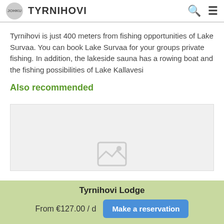TYRNIHOVI
Tyrnihovi is just 400 meters from fishing opportunities of Lake Survaa. You can book Lake Survaa for your groups private fishing. In addition, the lakeside sauna has a rowing boat and the fishing possibilities of Lake Kallavesi
Also recommended
[Figure (photo): Placeholder image area with grey background and image icon]
Tyrnihovi Lodge
From €127.00 / d
Make a reservation